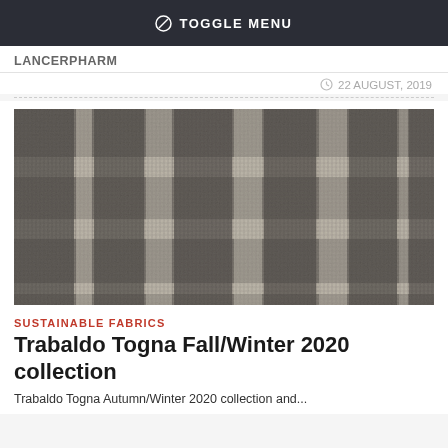TOGGLE MENU
LANCERPHARM
22 AUGUST, 2019
[Figure (photo): Close-up photograph of a woven fabric with a plaid/windowpane pattern in grey and cream tones, showing textile texture detail for Trabaldo Togna Fall/Winter 2020 collection.]
SUSTAINABLE FABRICS
Trabaldo Togna Fall/Winter 2020 collection
Trabaldo Togna Autumn/Winter 2020 collection and...